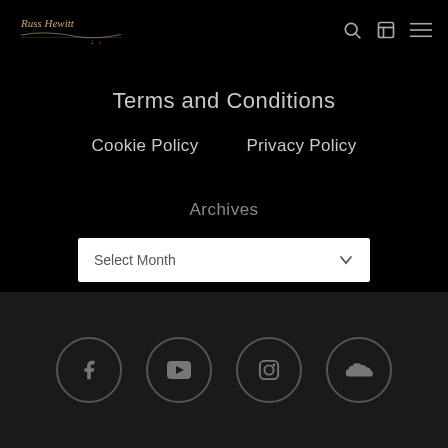Russ Hewitt [logo] with search, cart, and menu icons
Terms and Conditions
Cookie Policy   Privacy Policy
Archives
Select Month
Social icons: Facebook, YouTube, Instagram, SoundCloud